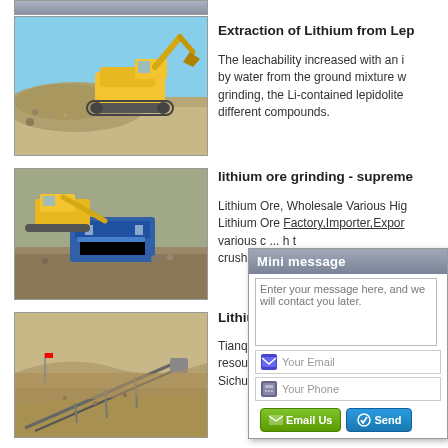[Figure (photo): Partial top strip of a mining/construction scene]
[Figure (photo): Yellow excavator loading crushed rock or gravel at a mining site]
[Figure (photo): Blue crushing machine with excavator at a mining/quarry site]
[Figure (photo): Open-pit mining conveyor belt and earthworks]
Extraction of Lithium from Lep
The leachability increased with an i by water from the ground mixture w grinding, the Li-contained lepidolite different compounds.
lithium ore grinding - supreme
Lithium Ore, Wholesale Various Hig Lithium Ore Factory,Importer,Expor various c... h t crushing ...
Lithium
Tianqi Lit c resources $Z Sichuan In
[Figure (screenshot): Mini message popup dialog with text area, email field, phone field, Email Us and Send buttons]